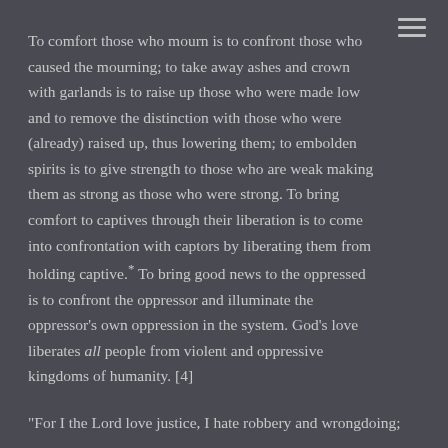To comfort those who mourn is to confront those who caused the mourning; to take away ashes and crown with garlands is to raise up those who were made low and to remove the distinction with those who were (already) raised up, thus lowering them; to embolden spirits is to give strength to those who are weak making them as strong as those who were strong. To bring comfort to captives through their liberation is to come into confrontation with captors by liberating them from holding captive.* To bring good news to the oppressed is to confront the oppressor and illuminate the oppressor's own oppression in the system. God's love liberates all people from violent and oppressive kingdoms of humanity. [4]
"For I the Lord love justice, I hate robbery and wrongdoing;